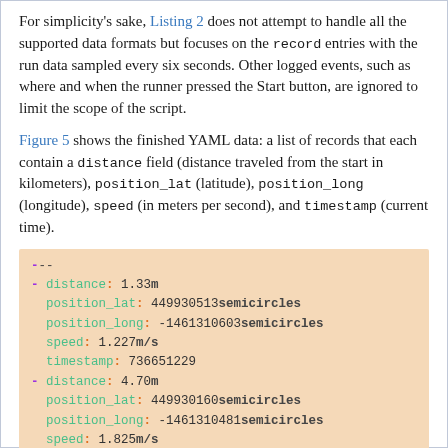For simplicity's sake, Listing 2 does not attempt to handle all the supported data formats but focuses on the record entries with the run data sampled every six seconds. Other logged events, such as where and when the runner pressed the Start button, are ignored to limit the scope of the script.
Figure 5 shows the finished YAML data: a list of records that each contain a distance field (distance traveled from the start in kilometers), position_lat (latitude), position_long (longitude), speed (in meters per second), and timestamp (current time).
[Figure (screenshot): YAML code block showing GPS run data records with fields: distance, position_lat, position_long, speed, timestamp for multiple entries.]